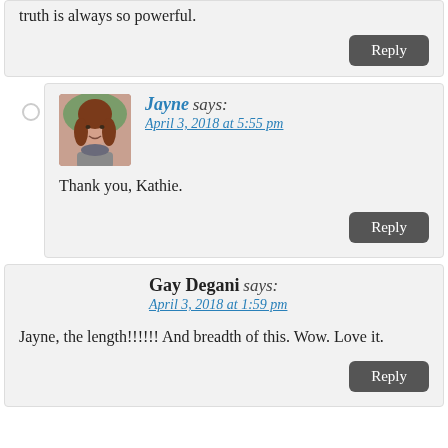truth is always so powerful.
Reply
Jayne says:
April 3, 2018 at 5:55 pm
[Figure (photo): Avatar photo of Jayne, woman with reddish-brown hair]
Thank you, Kathie.
Reply
Gay Degani says:
April 3, 2018 at 1:59 pm
Jayne, the length!!!!!! And breadth of this. Wow. Love it.
Reply